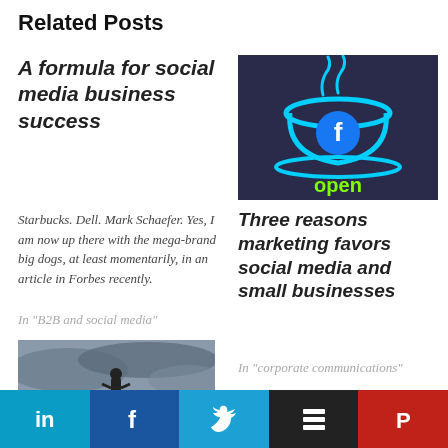Related Posts
A formula for social media business success
Starbucks.  Dell.  Mark Schaefer. Yes, I am now up there with the mega-brand big dogs, at least momentarily, in an article in Forbes recently.
In "B2B and social media"
[Figure (photo): Neon sign of a Facebook logo (the 'f') on a coffee cup with the word 'open' in green neon below]
Three reasons marketing favors social media and small businesses
In "corporate communications"
[Figure (photo): A person standing on a rocky outcrop against a dramatic cloudy sky]
LinkedIn | Facebook | Twitter | Buffer | Pinterest social sharing buttons